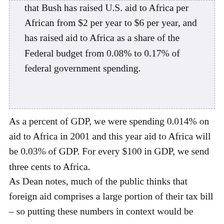that Bush has raised U.S. aid to Africa per African from $2 per year to $6 per year, and has raised aid to Africa as a share of the Federal budget from 0.08% to 0.17% of federal government spending.
As a percent of GDP, we were spending 0.014% on aid to Africa in 2001 and this year aid to Africa will be 0.03% of GDP. For every $100 in GDP, we send three cents to Africa.
As Dean notes, much of the public thinks that foreign aid comprises a large portion of their tax bill – so putting these numbers in context would be